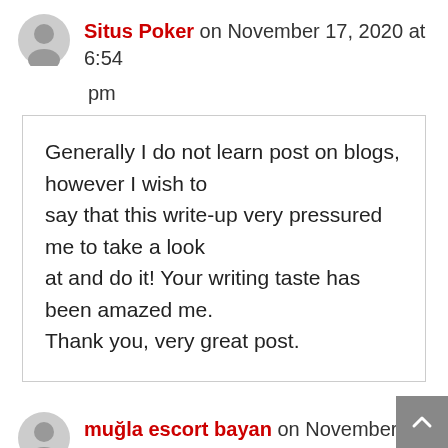Situs Poker on November 17, 2020 at 6:54 pm
Generally I do not learn post on blogs, however I wish to say that this write-up very pressured me to take a look at and do it! Your writing taste has been amazed me. Thank you, very great post.
muğla escort bayan on November 18, 2020 at 1:01 am